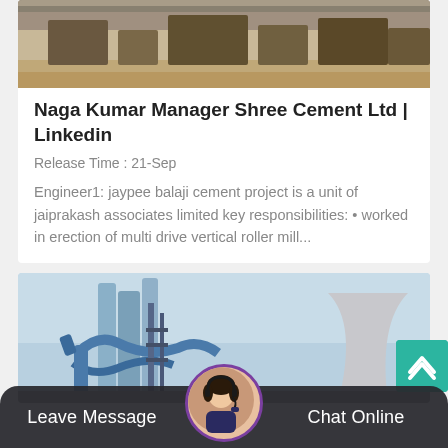[Figure (photo): Industrial/construction site photo, top portion cropped]
Naga Kumar Manager Shree Cement Ltd | Linkedin
Release Time : 21-Sep
Engineer1: jaypee balaji cement project is a unit of jaiprakash associates limited key responsibilities: • worked in erection of multi drive vertical roller mill...
[Figure (photo): Industrial cement plant with blue pipes and cooling towers]
Leave Message
Chat Online